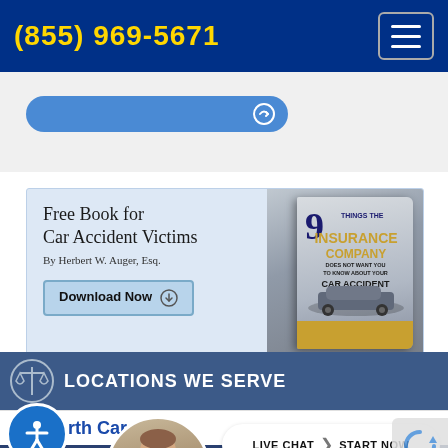(855) 969-5671
[Figure (screenshot): Blue search/action pill button with circular arrow icon]
[Figure (illustration): Advertisement for free book 'Free Book for Car Accident Victims' by Herbert W. Auger, Esq. with Download Now button and book cover showing '9 Things The Insurance Company Does Not Want You To Know About Your Car Accident Claim']
LOCATIONS WE SERVE
North Carolina
[Figure (photo): Portrait photo of attorney in suit]
LIVE CHAT | START NOW